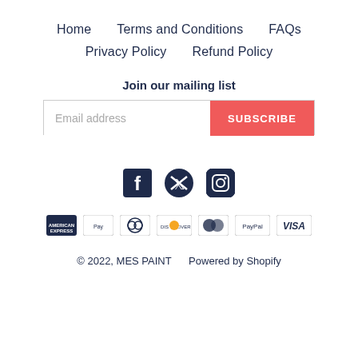Home    Terms and Conditions    FAQs    Privacy Policy    Refund Policy
Join our mailing list
[Figure (other): Email address input field with SUBSCRIBE button]
[Figure (other): Social media icons: Facebook, Twitter, Instagram]
[Figure (other): Payment method icons: American Express, Apple Pay, Diners Club, Discover, MasterCard, PayPal, Visa]
© 2022, MES PAINT    Powered by Shopify